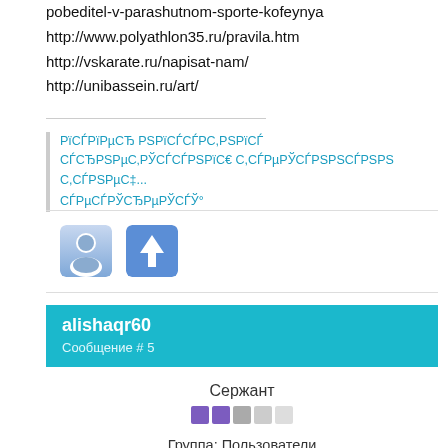pobeditel-v-parashutnom-sporte-kofeynya
http://www.polyathlon35.ru/pravila.htm
http://vskarate.ru/napisat-nam/
http://unibassein.ru/art/
РїСЃРїРµСЂ РЅРїСЃСЃРС,РЅРїСЃ СЃСЂРЅРµС‚РЎСЃС‹С... С,СЃРµРЎСЃЎСЎ°РЎ¶РµСЃРЅРЅ СЃРµСЃРЎСЂРµРЎСЃЎ°
[Figure (infographic): Two icon buttons: a user/avatar icon and an upload/arrow-up icon]
alishaqr60
Сообщение # 5
Сержант
[Figure (infographic): Rank stars: 2 purple filled, 1 gray, 2 light gray]
Группа: Пользователи
Сообщений: 24
Репутация: 0